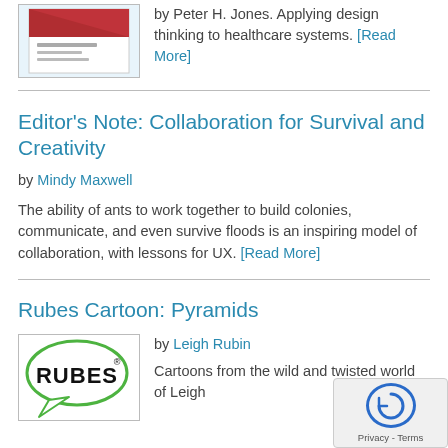[Figure (illustration): Book cover image with red design]
by Peter H. Jones. Applying design thinking to healthcare systems. [Read More]
Editor's Note: Collaboration for Survival and Creativity
by Mindy Maxwell
The ability of ants to work together to build colonies, communicate, and even survive floods is an inspiring model of collaboration, with lessons for UX. [Read More]
Rubes Cartoon: Pyramids
[Figure (illustration): Rubes cartoon logo - speech bubble with RUBES text]
by Leigh Rubin
Cartoons from the wild and twisted world of Leigh